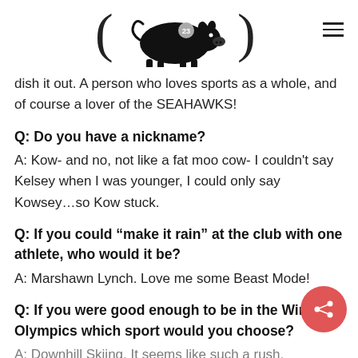( [pig logo] 23 )
dish it out. A person who loves sports as a whole, and of course a lover of the SEAHAWKS!
Q: Do you have a nickname?
A: Kow- and no, not like a fat moo cow- I couldn’t say Kelsey when I was younger, I could only say Kowsey…so Kow stuck.
Q: If you could “make it rain” at the club with one athlete, who would it be?
A: Marshawn Lynch. Love me some Beast Mode!
Q: If you were good enough to be in the Winter Olympics which sport would you choose?
A: Downhill Skiing. It seems like such a rush.